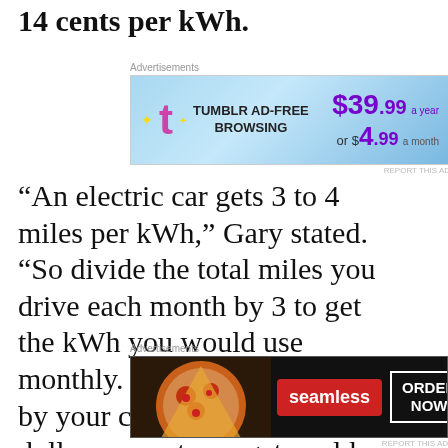14 cents per kWh.
[Figure (other): Tumblr Ad-Free Browsing advertisement banner: $39.99 a year or $4.99 a month]
“An electric car gets 3 to 4 miles per kWh,” Gary stated. “So divide the total miles you drive each month by 3 to get the kWh you would use monthly. Multiply that number by your cost per kWh. The dollar amount you get could be less than
[Figure (other): Seamless food delivery advertisement banner: ORDER NOW]